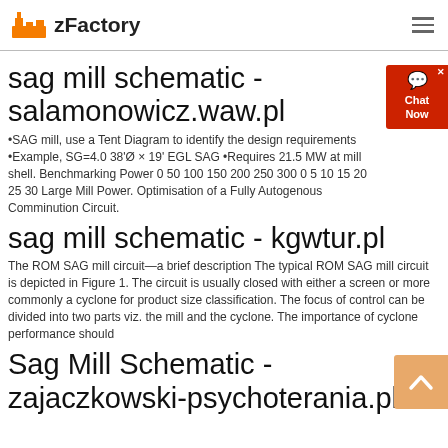zFactory
sag mill schematic - salamonowicz.waw.pl
•SAG mill, use a Tent Diagram to identify the design requirements •Example, SG=4.0 38'Ø × 19' EGL SAG •Requires 21.5 MW at mill shell. Benchmarking Power 0 50 100 150 200 250 300 0 5 10 15 20 25 30 Large Mill Power. Optimisation of a Fully Autogenous Comminution Circuit.
sag mill schematic - kgwtur.pl
The ROM SAG mill circuit—a brief description The typical ROM SAG mill circuit is depicted in Figure 1. The circuit is usually closed with either a screen or more commonly a cyclone for product size classification. The focus of control can be divided into two parts viz. the mill and the cyclone. The importance of cyclone performance should
Sag Mill Schematic - zajaczkowski-psychoterania.pl